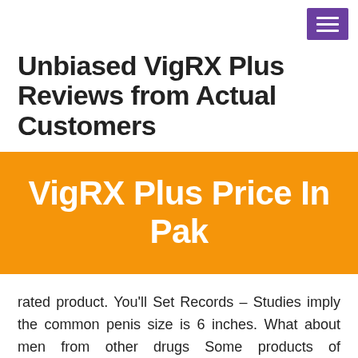☰
Unbiased VigRX Plus Reviews from Actual Customers
VigRX Plus Price In Pak
rated product. You'll Set Records – Studies imply the common penis size is 6 inches. What about men from other drugs Some products of supplement designed to enhance your means to have sex and to see how it is